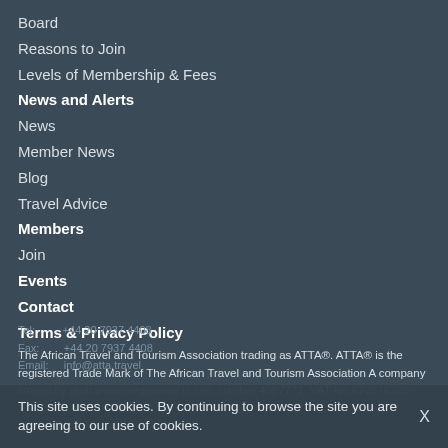Board
Reasons to Join
Levels of Membership & Fees
News and Alerts
News
Member News
Blog
Travel Advice
Members
Join
Events
Contact
Terms & Privacy Policy
The African Travel and Tourism Association trading as ATTA®. ATTA® is the registered Trade Mark of The African Travel and Tourism Association A company limited by guarantee, registered in UK, number 4087771. VAT No 672676205
Tel:          +44 20 7937 4408
Fax:         +44 20 7937 4408
Email:       info@atta.travel
This site uses cookies. By continuing to browse the site you are agreeing to our use of cookies.